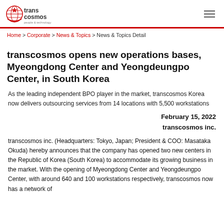transcosmos - people & technology [logo] [navigation menu]
Home > Corporate > News & Topics > News & Topics Detail
transcosmos opens new operations bases, Myeongdong Center and Yeongdeungpo Center, in South Korea
As the leading independent BPO player in the market, transcosmos Korea now delivers outsourcing services from 14 locations with 5,500 workstations
February 15, 2022
transcosmos inc.
transcosmos inc. (Headquarters: Tokyo, Japan; President & COO: Masataka Okuda) hereby announces that the company has opened two new centers in the Republic of Korea (South Korea) to accommodate its growing business in the market. With the opening of Myeongdong Center and Yeongdeungpo Center, with around 640 and 100 workstations respectively, transcosmos now has a network of